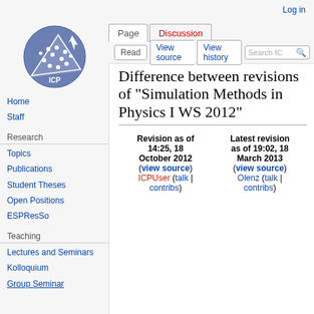Log in
[Figure (logo): ICP wiki logo — circular blue badge with dots and triangular shape]
Home
Staff
Research
Topics
Publications
Student Theses
Open Positions
ESPResSo
Teaching
Lectures and Seminars
Kolloquium
Group Seminar
Difference between revisions of "Simulation Methods in Physics I WS 2012"
| Revision as of 14:25, 18 October 2012 (view source) | Latest revision as of 19:02, 18 March 2013 (view source) |
| --- | --- |
| ICPUser (talk | contribs) | Olenz (talk | contribs) |